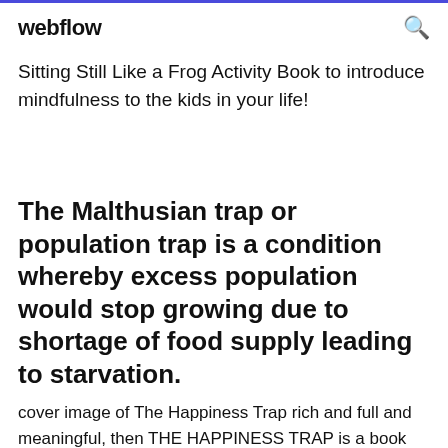webflow
Sitting Still Like a Frog Activity Book to introduce mindfulness to the kids in your life!
The Malthusian trap or population trap is a condition whereby excess population would stop growing due to shortage of food supply leading to starvation.
cover image of The Happiness Trap rich and full and meaningful, then THE HAPPINESS TRAP is a book you definitely Download Libbyan app by